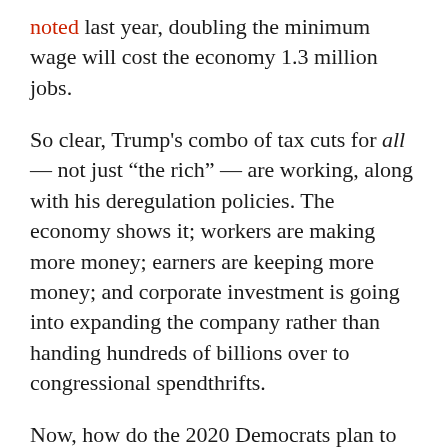noted last year, doubling the minimum wage will cost the economy 1.3 million jobs.
So clear, Trump's combo of tax cuts for all — not just "the rich" — are working, along with his deregulation policies. The economy shows it; workers are making more money; earners are keeping more money; and corporate investment is going into expanding the company rather than handing hundreds of billions over to congressional spendthrifts.
Now, how do the 2020 Democrats plan to run against this booming Trump economy? Reuters did an analysis and essentially, to a candidate, each Democrat would not only reverse the